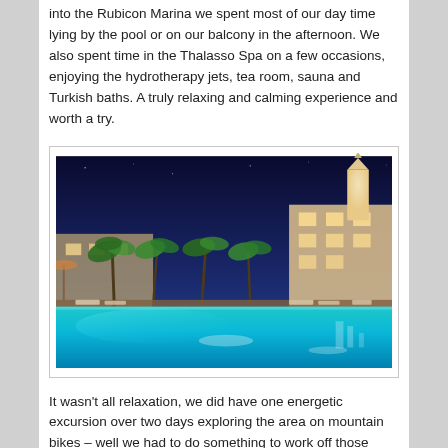into the Rubicon Marina we spent most of our day time lying by the pool or on our balcony in the afternoon. We also spent time in the Thalasso Spa on a few occasions, enjoying the hydrotherapy jets, tea room, sauna and Turkish baths. A truly relaxing and calming experience and worth a try.
[Figure (photo): Night-time photograph of a luxury hotel swimming pool with illuminated blue water, palm trees, and a tall white minaret-style tower lit up against a dark blue sky.]
It wasn't all relaxation, we did have one energetic excursion over two days exploring the area on mountain bikes – well we had to do something to work off those chocolate crepes... Hotel reception was able to organize